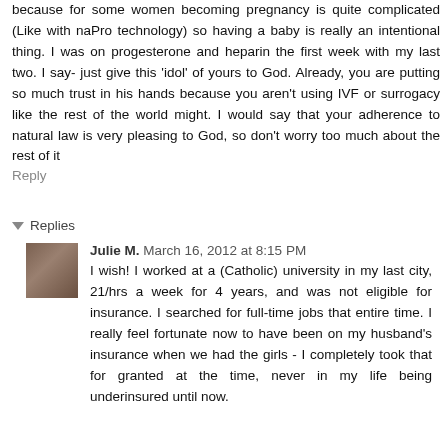because for some women becoming pregnancy is quite complicated (Like with naPro technology) so having a baby is really an intentional thing. I was on progesterone and heparin the first week with my last two. I say- just give this 'idol' of yours to God. Already, you are putting so much trust in his hands because you aren't using IVF or surrogacy like the rest of the world might. I would say that your adherence to natural law is very pleasing to God, so don't worry too much about the rest of it
Reply
Replies
Julie M.  March 16, 2012 at 8:15 PM
I wish! I worked at a (Catholic) university in my last city, 21/hrs a week for 4 years, and was not eligible for insurance. I searched for full-time jobs that entire time. I really feel fortunate now to have been on my husband's insurance when we had the girls - I completely took that for granted at the time, never in my life being underinsured until now.